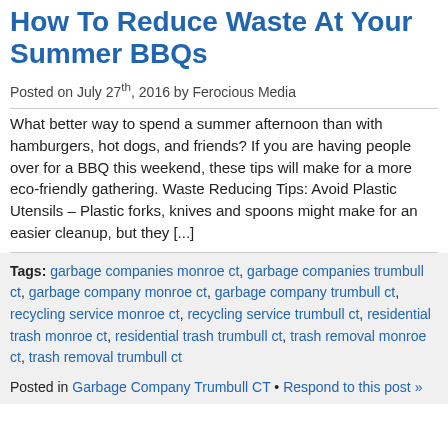How To Reduce Waste At Your Summer BBQs
Posted on July 27th, 2016 by Ferocious Media
What better way to spend a summer afternoon than with hamburgers, hot dogs, and friends? If you are having people over for a BBQ this weekend, these tips will make for a more eco-friendly gathering. Waste Reducing Tips: Avoid Plastic Utensils – Plastic forks, knives and spoons might make for an easier cleanup, but they [...]
Tags: garbage companies monroe ct, garbage companies trumbull ct, garbage company monroe ct, garbage company trumbull ct, recycling service monroe ct, recycling service trumbull ct, residential trash monroe ct, residential trash trumbull ct, trash removal monroe ct, trash removal trumbull ct
Posted in Garbage Company Trumbull CT • Respond to this post »